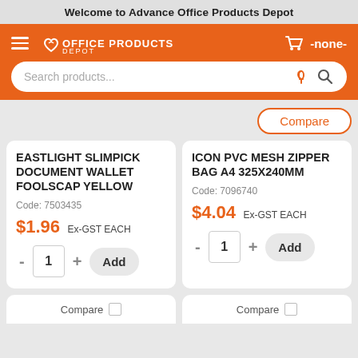Welcome to Advance Office Products Depot
[Figure (screenshot): Orange navigation bar with hamburger menu, Office Products Depot logo, cart icon showing -none-, and a search bar with microphone and search icons]
Compare
EASTLIGHT SLIMPICK DOCUMENT WALLET FOOLSCAP YELLOW
Code: 7503435
$1.96 Ex-GST EACH
ICON PVC MESH ZIPPER BAG A4 325X240MM
Code: 7096740
$4.04 Ex-GST EACH
Compare
Compare